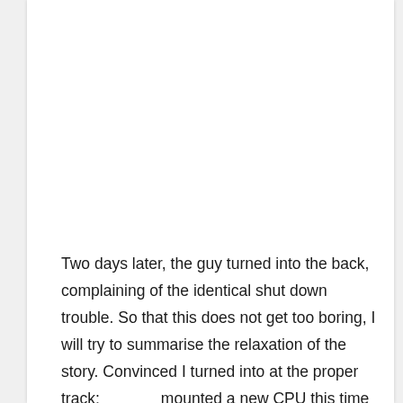Two days later, the guy turned into the back, complaining of the identical shut down trouble. So that this does not get too boring, I will try to summarise the relaxation of the story. Convinced I turned into at the proper track; mounted a new CPU this time and repeatedly tested all of